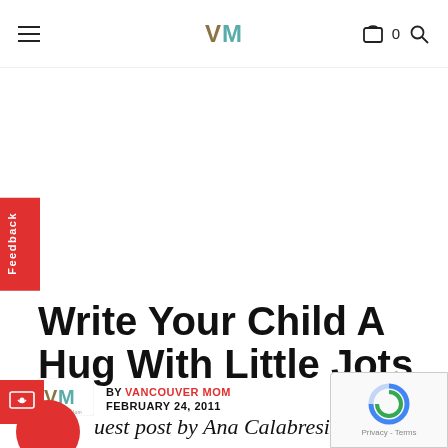VM — Vancouver Mom
Write Your Child A Hug With Little Jots
BY VANCOUVER MOM
FEBRUARY 24, 2011
Guest post by Ana Calabresi